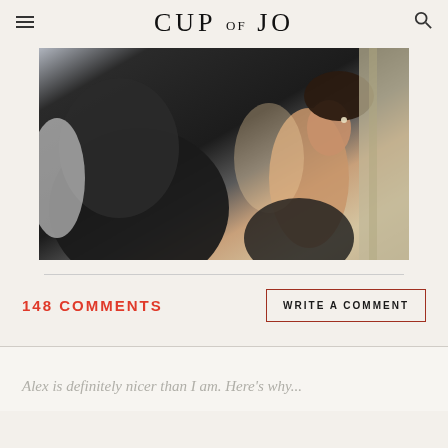CUP OF JO
[Figure (photo): A couple embracing and kissing, photographed from behind. The person on the left wears a dark jacket, and the person on the right has dark hair in an updo, wearing a black top, with a curtain visible in the background.]
148 COMMENTS
WRITE A COMMENT
Alex is definitely nicer than I am. Here's why...